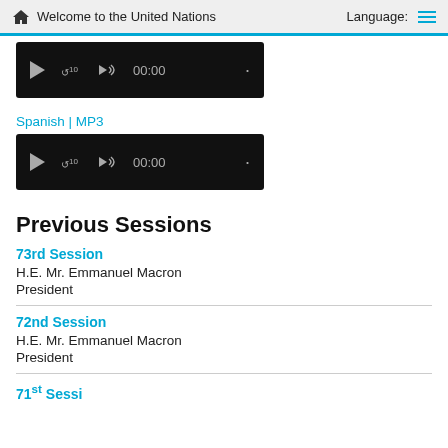Welcome to the United Nations  Language:
[Figure (screenshot): Audio player with play button, replay 10s button, volume icon, and 00:00 time display on black background]
Spanish | MP3
[Figure (screenshot): Audio player with play button, replay 10s button, volume icon, and 00:00 time display on black background]
Previous Sessions
73rd Session
H.E. Mr. Emmanuel Macron
President
72nd Session
H.E. Mr. Emmanuel Macron
President